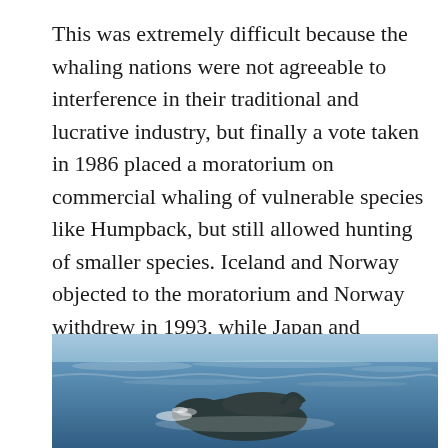This was extremely difficult because the whaling nations were not agreeable to interference in their traditional and lucrative industry, but finally a vote taken in 1986 placed a moratorium on commercial whaling of vulnerable species like Humpback, but still allowed hunting of smaller species. Iceland and Norway objected to the moratorium and Norway withdrew in 1993, while Japan and Iceland continue hunting whales under the guise of “scientific research”, and many nations still try to over turn the ban.
[Figure (photo): Photograph of a whale partially surfacing from ocean water, with blue-grey sea visible around it.]